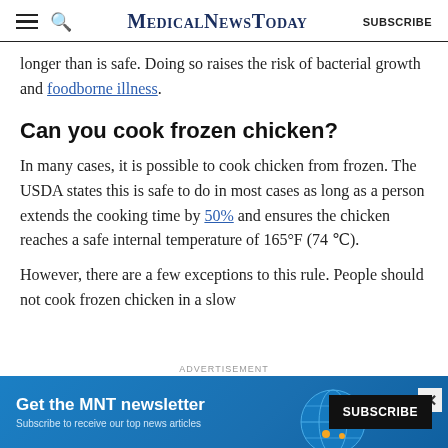MedicalNewsToday | SUBSCRIBE
longer than is safe. Doing so raises the risk of bacterial growth and foodborne illness.
Can you cook frozen chicken?
In many cases, it is possible to cook chicken from frozen. The USDA states this is safe to do in most cases as long as a person extends the cooking time by 50% and ensures the chicken reaches a safe internal temperature of 165°F (74 ℃).
However, there are a few exceptions to this rule. People should not cook frozen chicken in a slow
[Figure (other): Advertisement banner for MNT newsletter with Subscribe button and globe graphic on blue background]